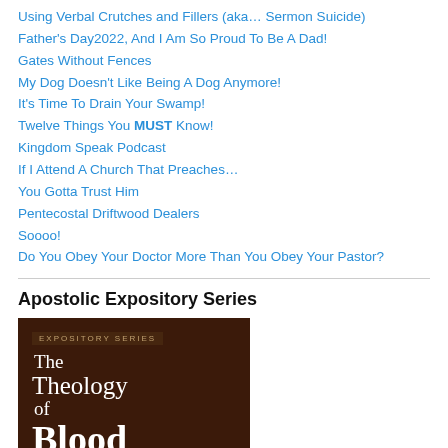Using Verbal Crutches and Fillers (aka… Sermon Suicide)
Father's Day2022, And I Am So Proud To Be A Dad!
Gates Without Fences
My Dog Doesn't Like Being A Dog Anymore!
It's Time To Drain Your Swamp!
Twelve Things You MUST Know!
Kingdom Speak Podcast
If I Attend A Church That Preaches…
You Gotta Trust Him
Pentecostal Driftwood Dealers
Soooo!
Do You Obey Your Doctor More Than You Obey Your Pastor?
Apostolic Expository Series
[Figure (illustration): Book cover for 'The Theology of Blood' from the Expository Series, dark brown background with white serif text.]